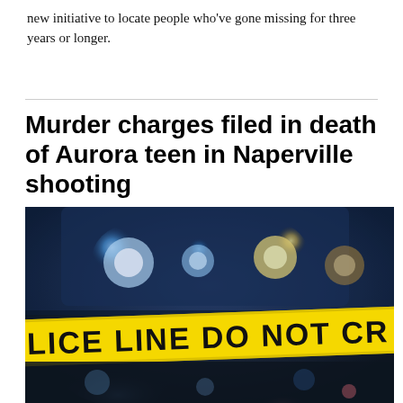new initiative to locate people who've gone missing for three years or longer.
Murder charges filed in death of Aurora teen in Naperville shooting
[Figure (photo): Police crime scene photo showing blue and yellow flashing police lights on a patrol car with yellow police tape reading 'POLICE LINE DO NOT CROSS' in the foreground, blurred background with bokeh lights.]